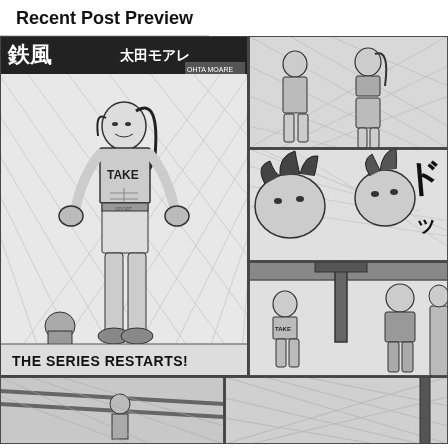Recent Post Preview
[Figure (illustration): Manga/comic page preview showing a martial arts series. Left large panel: female fighter in sports attire labeled TAKE walking forward in a cage/ring, with Japanese text and author name 太田モアレ at top, caption THE SERIES RESTARTS! at bottom. Right panels: top - two fighters standing in cage; middle - close-up action punch scene with Japanese sound effect ド; bottom - fighter TAKE standing across from referee/trainer. Bottom strip: partial panels showing ring/cage scenes.]